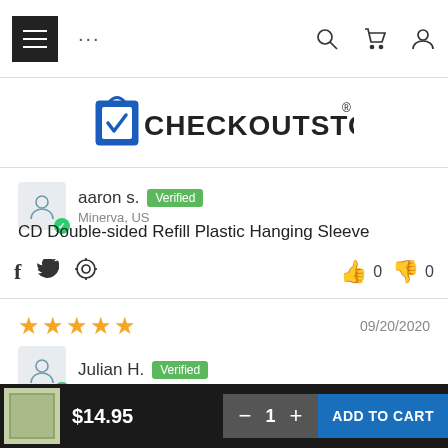[Figure (screenshot): Navigation bar with hamburger menu, dots menu, search, cart, and user icons]
[Figure (logo): CheckOutStore logo with shopping cart icon and checkmark]
aaron s. Verified
Minerva, US
CD Double-sided Refill Plastic Hanging Sleeve
Social share icons: Facebook, Twitter, Pinterest. Helpful votes: thumbs up 0, thumbs down 0
★★★★☆ 09/20/2020
Julian H. Verified
Got it 3 days early
They are great and now I need another case to hold more.
$14.95  −  1  +  ADD TO CART